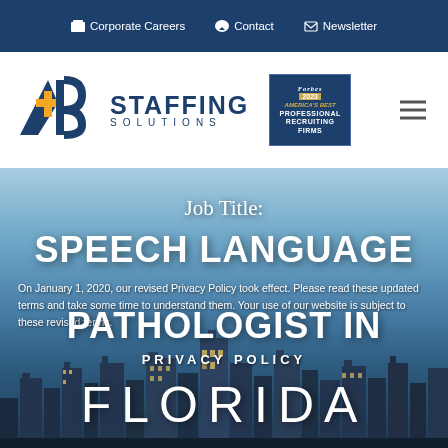Corporate Careers   Contact   Newsletter
[Figure (logo): A+B Staffing Solutions logo with Forbes 2023 America's Best Professional Recruiting Firms badge]
[Figure (photo): City skyline at dusk/night with blue sky background - Florida cityscape]
Job Title:
SPEECH LANGUAGE PATHOLOGIST IN FLORIDA
On January 1, 2020, our revised Privacy Policy took effect. Please read these updated terms and take some time to understand them. Your use of our website is subject to these revised terms.
PRIVACY POLICY